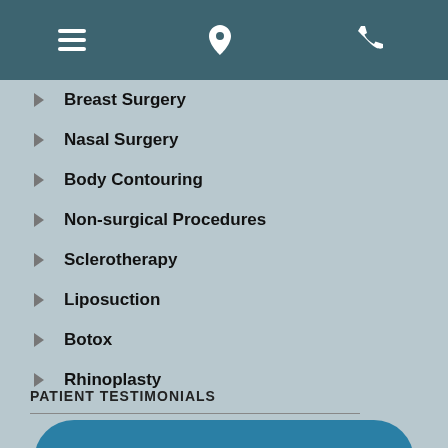[hamburger menu] [phone icon] [location pin icon]
Breast Surgery
Nasal Surgery
Body Contouring
Non-surgical Procedures
Sclerotherapy
Liposuction
Botox
Rhinoplasty
PATIENT TESTIMONIALS
Jan Zemplenyi, M.D. ★★★★★ 5.0/5